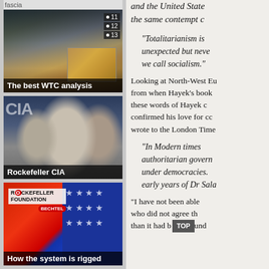fascia
[Figure (screenshot): The best WTC analysis - video thumbnail showing WTC destruction with numbered overlay items 11, 12, 13]
[Figure (photo): Rockefeller CIA - black and white photo of three men in suits with CIA-related background]
[Figure (illustration): How the system is rigged - colorful illustration with Rockefeller Foundation and Bechtel logos, red and blue American flag imagery, caricatures]
and the United State the same contempt c
"Totalitarianism is unexpected but neve we call socialism."
Looking at North-West Eu from when Hayek's book these words of Hayek c confirmed his love for cc wrote to the London Time
"In Modern times authoritarian govern under democracies. early years of Dr Sala
"I have not been able who did not agree th than it had been und
TOP